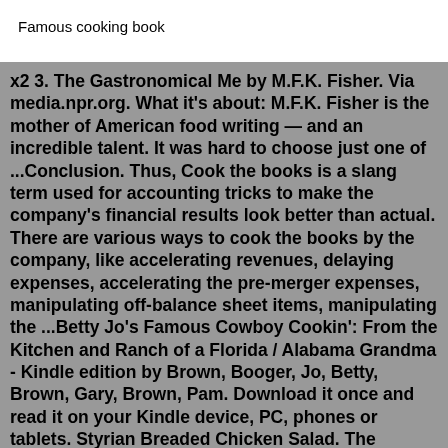Famous cooking book
x2 3. The Gastronomical Me by M.F.K. Fisher. Via media.npr.org. What it's about: M.F.K. Fisher is the mother of American food writing — and an incredible talent. It was hard to choose just one of ...Conclusion. Thus, Cook the books is a slang term used for accounting tricks to make the company's financial results look better than actual. There are various ways to cook the books by the company, like accelerating revenues, delaying expenses, accelerating the pre-merger expenses, manipulating off-balance sheet items, manipulating the ...Betty Jo's Famous Cowboy Cookin': From the Kitchen and Ranch of a Florida / Alabama Grandma - Kindle edition by Brown, Booger, Jo, Betty, Brown, Gary, Brown, Pam. Download it once and read it on your Kindle device, PC, phones or tablets. Styrian Breaded Chicken Salad. The "Steirischer Backhendlsalat" is a specialty